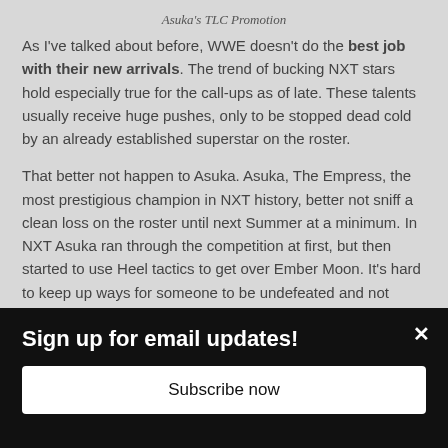Asuka's TLC Promotion
As I've talked about before, WWE doesn't do the best job with their new arrivals. The trend of bucking NXT stars hold especially true for the call-ups as of late. These talents usually receive huge pushes, only to be stopped dead cold by an already established superstar on the roster.
That better not happen to Asuka. Asuka, The Empress, the most prestigious champion in NXT history, better not sniff a clean loss on the roster until next Summer at a minimum. In NXT Asuka ran through the competition at first, but then started to use Heel tactics to get over Ember Moon. It's hard to keep up ways for someone to be undefeated and not make the rest of the division look weak.
Sign up for email updates!
Subscribe now